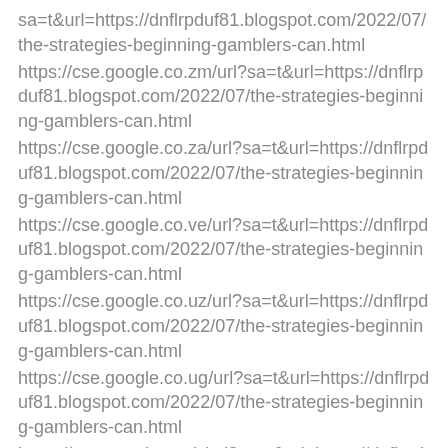sa=t&url=https://dnflrpduf81.blogspot.com/2022/07/the-strategies-beginning-gamblers-can.html
https://cse.google.co.zm/url?sa=t&url=https://dnflrpduf81.blogspot.com/2022/07/the-strategies-beginning-gamblers-can.html
https://cse.google.co.za/url?sa=t&url=https://dnflrpduf81.blogspot.com/2022/07/the-strategies-beginning-gamblers-can.html
https://cse.google.co.ve/url?sa=t&url=https://dnflrpduf81.blogspot.com/2022/07/the-strategies-beginning-gamblers-can.html
https://cse.google.co.uz/url?sa=t&url=https://dnflrpduf81.blogspot.com/2022/07/the-strategies-beginning-gamblers-can.html
https://cse.google.co.ug/url?sa=t&url=https://dnflrpduf81.blogspot.com/2022/07/the-strategies-beginning-gamblers-can.html
https://cse.google.co.th/url?sa=t&url=https://dnflrpduf81.blogspot.com/2022/07/the-strategies-beginning-gamblers-can.html